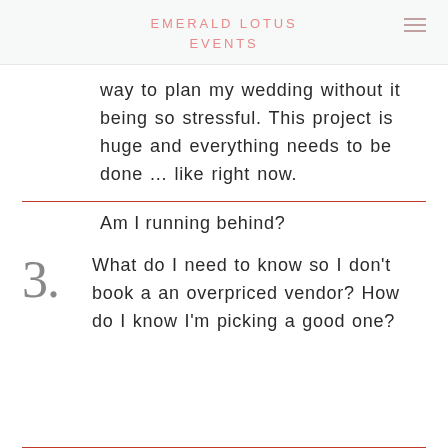EMERALD LOTUS EVENTS
way to plan my wedding without it being so stressful. This project is huge and everything needs to be done ... like right now.
Am I running behind?
3. What do I need to know so I don't book a an overpriced vendor? How do I know I'm picking a good one?